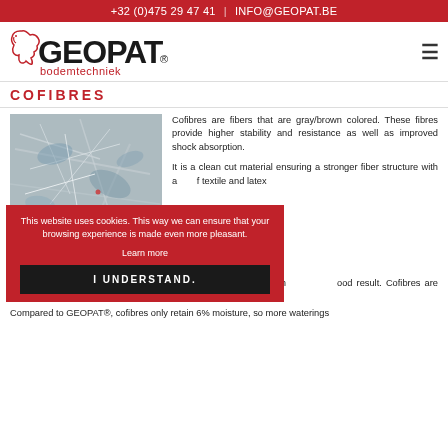+32 (0)475 29 47 41  |  INFO@GEOPAT.BE
[Figure (logo): GEOPAT bodemtechniek logo with red animal silhouette]
COFIBRES
[Figure (photo): Close-up photo of gray/brown cofibres material showing tangled fibrous texture]
Cofibres are fibers that are gray/brown colored. These fibres provide higher stability and resistance as well as improved shock absorption.
It is a clean cut material ensuring a stronger fiber structure with a [mix] of textile and latex
Cofibres can be combined with GEOPAT® or geofibres. Sand m[ix gives a] good result. Cofibres are id[eal for] riding arenas .
Compared to GEOPAT®, cofibres only retain 6% moisture, so more waterings